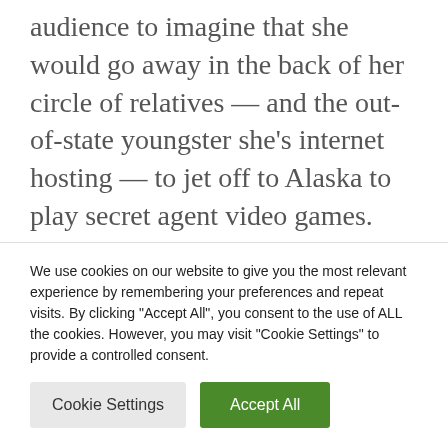audience to imagine that she would go away in the back of her circle of relatives — and the out-of-state youngster she's internet hosting — to jet off to Alaska to play secret agent video games. This storyline required her to be silly; see the instant the place she leaves the more youthful children within the care of her son Jonathan, who she has no thought is baked out of his thoughts on the
We use cookies on our website to give you the most relevant experience by remembering your preferences and repeat visits. By clicking "Accept All", you consent to the use of ALL the cookies. However, you may visit "Cookie Settings" to provide a controlled consent.